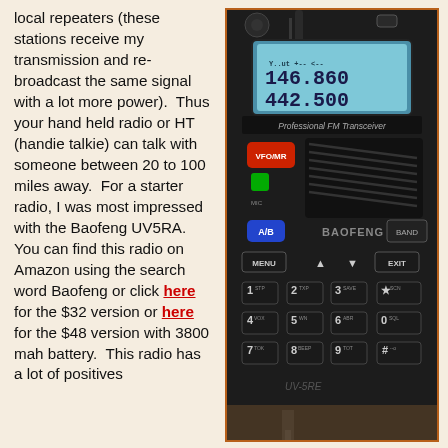local repeaters (these stations receive my transmission and re-broadcast the same signal with a lot more power).  Thus your hand held radio or HT (handie talkie) can talk with someone between 20 to 100 miles away.  For a starter radio, I was most impressed with the Baofeng UV5RA.  You can find this radio on Amazon using the search word Baofeng or click here for the $32 version or here for the $48 version with 3800 mah battery.  This radio has a lot of positives
[Figure (photo): A Baofeng UV-5RA handheld FM transceiver radio showing blue LCD display with frequencies 146.860 and 442.500, keypad with numbered buttons, VFO/MR button, A/B button, MENU, EXIT buttons and speaker grille]